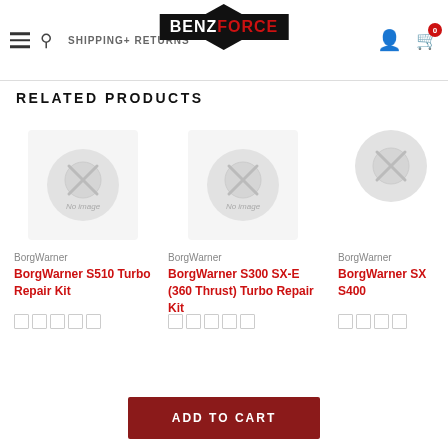BenzForce — SHIPPING+ RETURNS navigation header
RELATED PRODUCTS
[Figure (other): No image placeholder for BorgWarner S510 Turbo Repair Kit product]
BorgWarner
BorgWarner S510 Turbo Repair Kit
[Figure (other): No image placeholder for BorgWarner S300 SX-E (360 Thrust) Turbo Repair Kit product]
BorgWarner
BorgWarner S300 SX-E (360 Thrust) Turbo Repair Kit
BorgWarner
BorgWarner SX S400